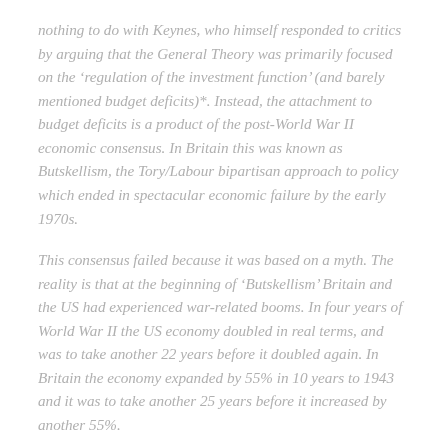nothing to do with Keynes, who himself responded to critics by arguing that the General Theory was primarily focused on the 'regulation of the investment function' (and barely mentioned budget deficits)*. Instead, the attachment to budget deficits is a product of the post-World War II economic consensus. In Britain this was known as Butskellism, the Tory/Labour bipartisan approach to policy which ended in spectacular economic failure by the early 1970s.
This consensus failed because it was based on a myth. The reality is that at the beginning of 'Butskellism' Britain and the US had experienced war-related booms. In four years of World War II the US economy doubled in real terms, and was to take another 22 years before it doubled again. In Britain the economy expanded by 55% in 10 years to 1943 and it was to take another 25 years before it increased by another 55%.
The false economic consensus was that the 'post-WWII boom',